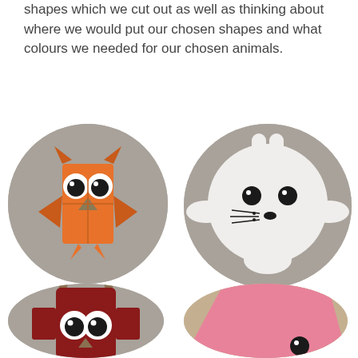shapes which we cut out as well as thinking about where we would put our chosen shapes and what colours we needed for our chosen animals.
[Figure (photo): Four circular cropped photos of children's paper craft animal projects arranged in a 2x2 grid. Top-left: orange paper owl with large googly eyes and red wings on grey background. Top-right: white paper polar bear/seal face with black dot eyes and whiskers on grey background. Bottom-left: red/maroon paper owl with large googly eyes on grey background (partially visible). Bottom-right: pink felt/fabric animal shape on tan background (partially visible).]